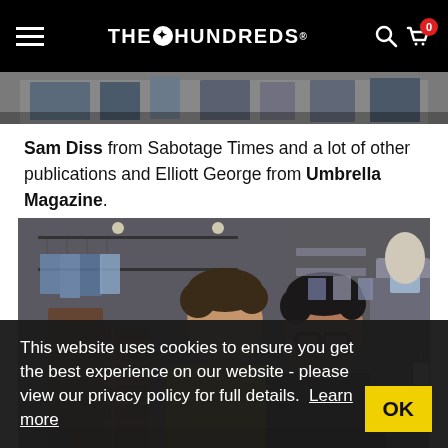THE HUNDREDS
[Figure (photo): Partial view of a clothing store or showroom, cropped at the top]
Sam Diss from Sabotage Times and a lot of other publications and Elliott George from Umbrella Magazine.
[Figure (photo): Two young men posing together inside a clothing store with racks of shirts in the background. The man on the left wears a yellow/mustard shirt; the man on the right wears glasses and a dark jacket. A mannequin wearing a grey vest and blue shirt is visible on the right.]
This website uses cookies to ensure you get the best experience on our website - please view our privacy policy for full details. Learn more